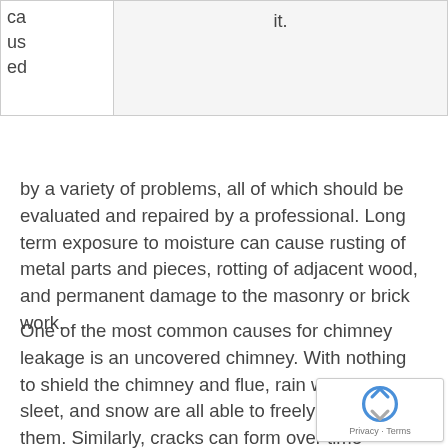| ca
us
ed | it. |
by a variety of problems, all of which should be evaluated and repaired by a professional. Long term exposure to moisture can cause rusting of metal parts and pieces, rotting of adjacent wood, and permanent damage to the masonry or brick work.
One of the most common causes for chimney leakage is an uncovered chimney. With nothing to shield the chimney and flue, rain water, hail, sleet, and snow are all able to freely fall into them. Similarly, cracks can form over time around chimney crowns, causing small leaks that will continue to get worse over time.